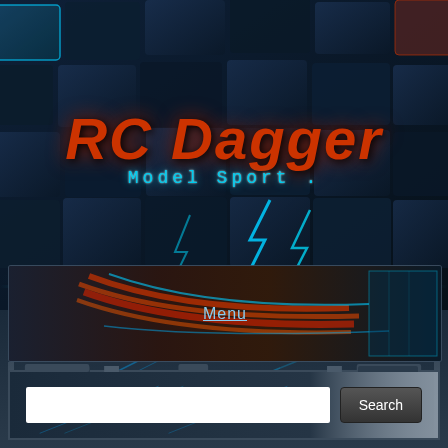[Figure (screenshot): RC Dagger Model Sport website screenshot showing a dark futuristic metallic tile background with glowing cyan highlights. Contains site title 'RC Dagger' in large red italic text, subtitle 'Model Sport' in cyan monospace font, a navigation bar with a 'Menu' link, and a search panel with a text input field and 'Search' button.]
RC Dagger
Model Sport
Menu
Search